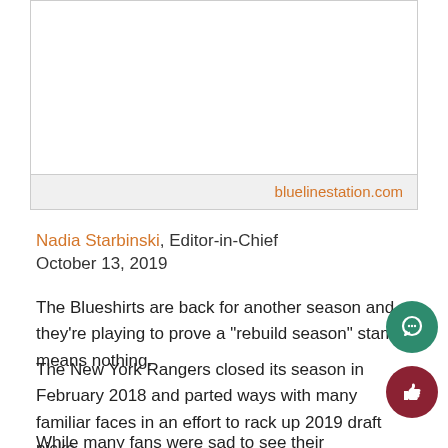[Figure (photo): Image placeholder area at top of article]
bluelinestation.com
Nadia Starbinski, Editor-in-Chief
October 13, 2019
The Blueshirts are back for another season and they’re playing to prove a “rebuild season” stamp means nothing.
The New York Rangers closed its season in February 2018 and parted ways with many familiar faces in an effort to rack up 2019 draft picks.
While many fans were sad to see their favorite players leave, the exciting offseason moves gave hope to a promising upcoming year.